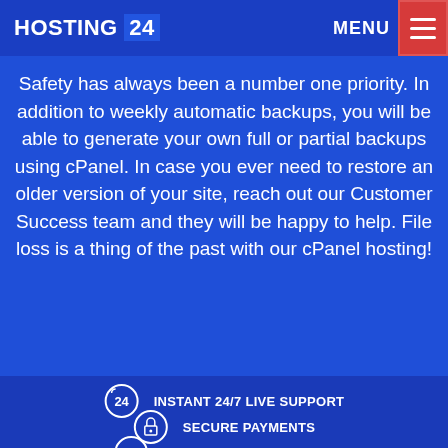HOSTING 24 | MENU
Safety has always been a number one priority. In addition to weekly automatic backups, you will be able to generate your own full or partial backups using cPanel. In case you ever need to restore an older version of your site, reach out our Customer Success team and they will be happy to help. File loss is a thing of the past with our cPanel hosting!
INSTANT 24/7 LIVE SUPPORT
SECURE PAYMENTS
30-DAY RISK-FREE TRIAL!